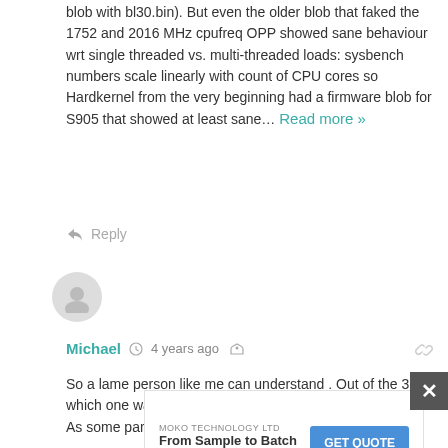blob with bl30.bin). But even the older blob that faked the 1752 and 2016 MHz cpufreq OPP showed sane behaviour wrt single threaded vs. multi-threaded loads: sysbench numbers scale linearly with count of CPU cores so Hardkernel from the very beginning had a firmware blob for S905 that showed at least sane… Read more »
Reply
[Figure (illustration): User avatar icon - grey circle with person silhouette]
Michael  4 years ago
So a lame person like me can understand . Out of the 3 which one was the winner
As some parts were green and some red as well asblack

Thank You
Reply
[Figure (infographic): Advertisement banner: MOKO TECHNOLOGY LTD - From Sample to Batch Order - GET QUOTE button]
×